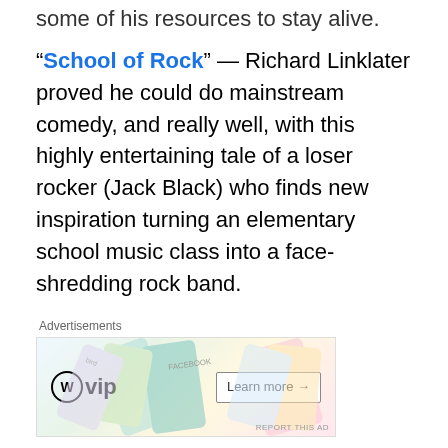some of his resources to stay alive.
“School of Rock” — Richard Linklater proved he could do mainstream comedy, and really well, with this highly entertaining tale of a loser rocker (Jack Black) who finds new inspiration turning an elementary school music class into a face-shredding rock band.
[Figure (screenshot): Advertisement for WordPress VIP showing the WP VIP logo and a Learn more button with colorful card graphics in the background.]
“Good Morning, Vietnam” — Of course, and especially now, everybody remembers Robin Williams’ masterful comic riffs as rebellious Armed Forces Radio disc jockey Adrian Cronauer. But I had a Vietnam lit professor in college told me it was the best movie he had seen about the Vietnam War to date, capturing a moment when America’s history...